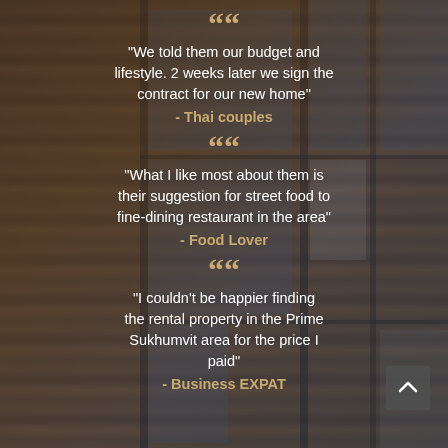“We told them our budget and lifestyle. 2 weeks later we sign the contract for our new home”
- Thai couples
“What I like most about them is their suggestion for street food to fine-dining restaurant in the area”
- Food Lover
“I couldn't be happier finding the rental property in the Prime Sukhumvit area for the price I paid”
- Business EXPAT